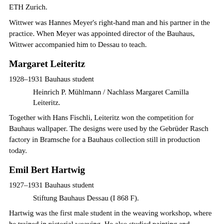ETH Zurich.
Wittwer was Hannes Meyer's right-hand man and his partner in the practice. When Meyer was appointed director of the Bauhaus, Wittwer accompanied him to Dessau to teach.
Margaret Leiteritz
1928–1931 Bauhaus student
Heinrich P. Mühlmann / Nachlass Margaret Camilla Leiteritz.
Together with Hans Fischli, Leiteritz won the competition for Bauhaus wallpaper. The designs were used by the Gebrüder Rasch factory in Bramsche for a Bauhaus collection still in production today.
Emil Bert Hartwig
1927–1931 Bauhaus student
Stiftung Bauhaus Dessau (I 868 F).
Hartwig was the first male student in the weaving workshop, where he trained in pictorial weaving. He also studied painting and